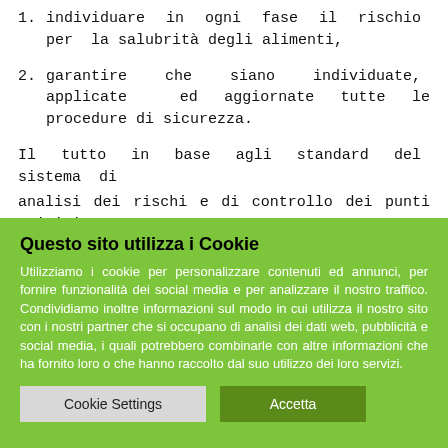1. individuare in ogni fase il rischio per la salubrità degli alimenti,
2. garantire che siano individuate, applicate ed aggiornate tutte le procedure di sicurezza.
Il tutto in base agli standard del sistema di analisi dei rischi e di controllo dei punti critici H
Questo sito utilizza i Cookie
Utilizziamo i cookie per personalizzare contenuti ed annunci, per fornire funzionalità dei social media e per analizzare il nostro traffico. Condividiamo inoltre informazioni sul modo in cui utilizza il nostro sito con i nostri partner che si occupano di analisi dei dati web, pubblicità e social media, i quali potrebbero combinarle con altre informazioni che ha fornito loro o che hanno raccolto dal suo utilizzo dei loro servizi.
Cookie Settings  Accetta